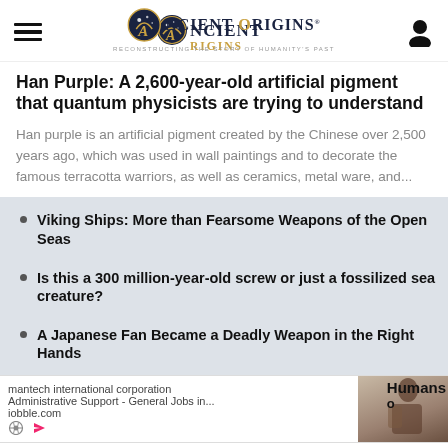Ancient Origins — Reconstructing the story of humanity's past
Han Purple: A 2,600-year-old artificial pigment that quantum physicists are trying to understand
Han purple is an artificial pigment created by the Chinese over 2,500 years ago, which was used in wall paintings and to decorate the famous terracotta warriors, as well as ceramics, metal ware, and...
Viking Ships: More than Fearsome Weapons of the Open Seas
Is this a 300 million-year-old screw or just a fossilized sea creature?
A Japanese Fan Became a Deadly Weapon in the Right Hands
mantech international corporation
Administrative Support - General Jobs in...
iobble.com
Humans
o
Romans Mastered Nanotechnology and Used it for Eye Catching Decoration